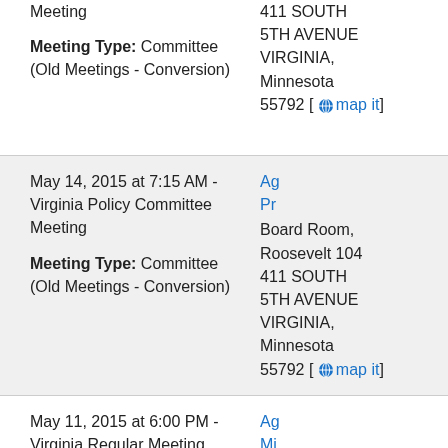Meeting
Meeting Type: Committee (Old Meetings - Conversion)
411 SOUTH 5TH AVENUE VIRGINIA, Minnesota 55792 [map it]
May 14, 2015 at 7:15 AM - Virginia Policy Committee Meeting
Meeting Type: Committee (Old Meetings - Conversion)
Board Room, Roosevelt 104 411 SOUTH 5TH AVENUE VIRGINIA, Minnesota 55792 [map it]
May 11, 2015 at 6:00 PM - Virginia Regular Meeting
Meeting Type: Committee (Old Meetings - Conversion)
Board Room, Roosevelt 104 411 SOUTH 5TH AVENUE VIRGINIA,